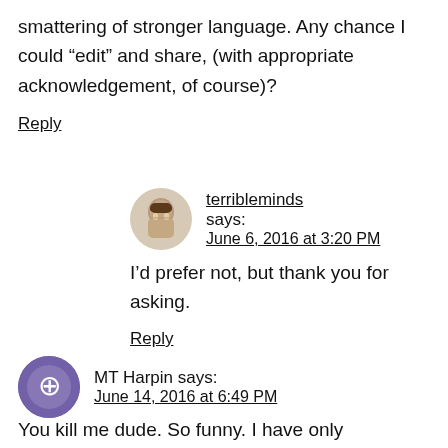smattering of stronger language. Any chance I could “edit” and share, (with appropriate acknowledgement, of course)?
Reply
terribleminds says: June 6, 2016 at 3:20 PM
I’d prefer not, but thank you for asking.
Reply
MT Harpin says: June 14, 2016 at 6:49 PM
You kill me dude. So funny. I have only